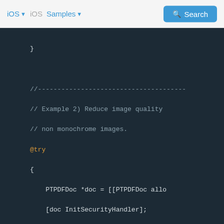iOS  iOS  Samples  Search
[Figure (screenshot): Dark-themed code editor showing Objective-C sample code for reducing image quality using PTPDFDoc and PTImageSettings classes, with @try block and method calls for SetCompressionMode and SetQuality.]